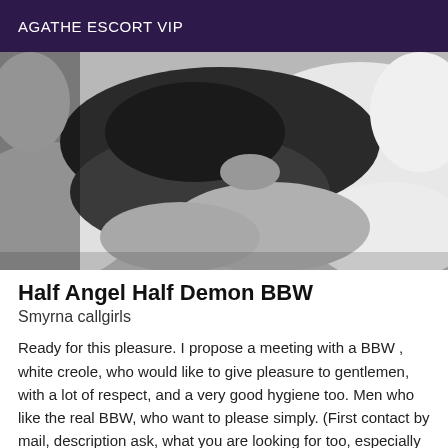AGATHE ESCORT VIP
[Figure (photo): Black and white photograph of a plus-size woman lying on a bed with white pillows, wearing dark lingerie, photographed from behind.]
Half Angel Half Demon BBW
Smyrna callgirls
Ready for this pleasure. I propose a meeting with a BBW , white creole, who would like to give pleasure to gentlemen, with a lot of respect, and a very good hygiene too. Men who like the real BBW, who want to please simply. (First contact by mail, description ask, what you are looking for too, especially men who really